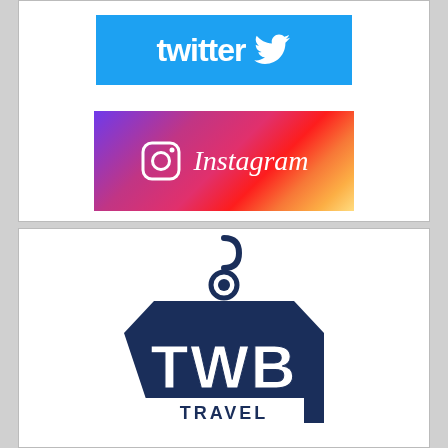[Figure (logo): Twitter logo - blue background with white 'twitter' text and bird icon]
[Figure (logo): Instagram logo - gradient purple to orange background with camera icon and 'Instagram' text in white italic]
[Figure (logo): TWB Travel logo - dark navy blue luggage tag shape with 'TWB' large letters and 'TRAVEL' in a white banner at bottom]